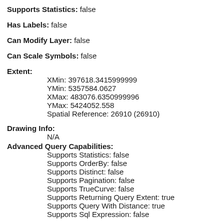Supports Statistics: false
Has Labels: false
Can Modify Layer: false
Can Scale Symbols: false
Extent:
  XMin: 397618.3415999999
  YMin: 5357584.0627
  XMax: 483076.6350999996
  YMax: 5424052.558
  Spatial Reference: 26910  (26910)
Drawing Info:
  N/A
Advanced Query Capabilities:
  Supports Statistics: false
  Supports OrderBy: false
  Supports Distinct: false
  Supports Pagination: false
  Supports TrueCurve: false
  Supports Returning Query Extent: true
  Supports Query With Distance: true
  Supports Sql Expression: false